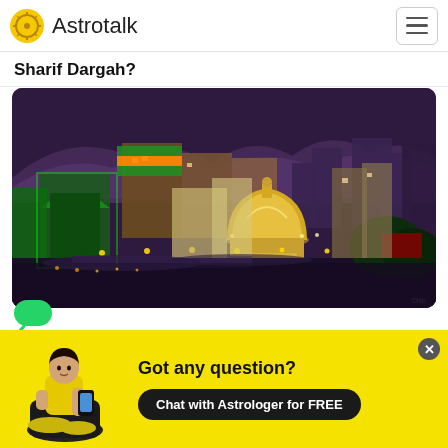Astrotalk
Sharif Dargah?
[Figure (photo): Aerial night view of Sharif Dargah, showing a large illuminated golden dome shrine surrounded by crowds and city buildings lit in green lights, with mountains in the background]
[Figure (illustration): Yellow banner with an illustration of a person in yellow clothes sitting cross-legged using a smartphone. Text: Got any question? Chat with Astrologer for FREE]